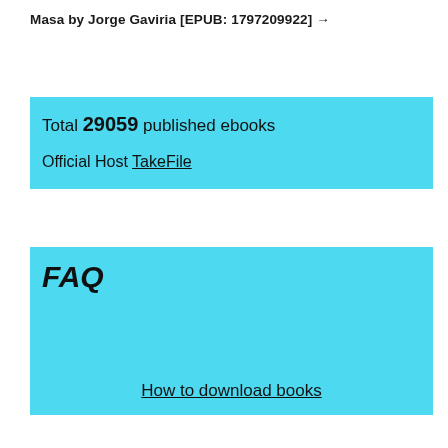Masa by Jorge Gaviria [EPUB: 1797209922] →
Total 29059 published ebooks

Official Host TakeFile
FAQ
How to download books